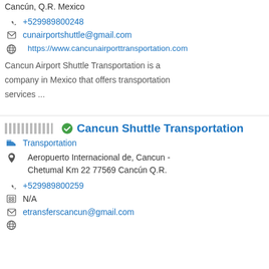Cancún, Q.R. Mexico
+529989800248
cunairportshuttle@gmail.com
https://www.cancunairporttransportation.com
Cancun Airport Shuttle Transportation is a company in Mexico that offers transportation services ...
Cancun Shuttle Transportation
Transportation
Aeropuerto Internacional de, Cancun - Chetumal Km 22 77569 Cancún Q.R.
+529989800259
N/A
etransferscancun@gmail.com